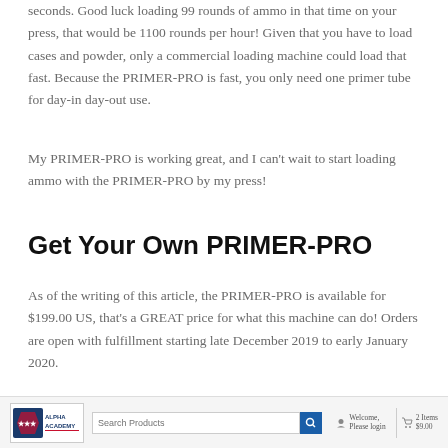seconds. Good luck loading 99 rounds of ammo in that time on your press, that would be 1100 rounds per hour! Given that you have to load cases and powder, only a commercial loading machine could load that fast. Because the PRIMER-PRO is fast, you only need one primer tube for day-in day-out use.
My PRIMER-PRO is working great, and I can't wait to start loading ammo with the PRIMER-PRO by my press!
Get Your Own PRIMER-PRO
As of the writing of this article, the PRIMER-PRO is available for $199.00 US, that's a GREAT price for what this machine can do! Orders are open with fulfillment starting late December 2019 to early January 2020.
[Figure (logo): Alpha Academy logo in footer navigation bar]